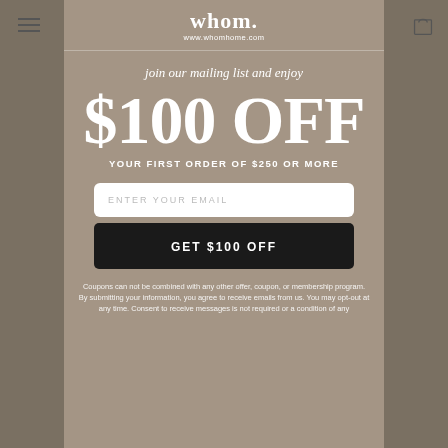[Figure (logo): whom. logo with www.whomhome.com url]
join our mailing list and enjoy
$100 OFF
YOUR FIRST ORDER OF $250 OR MORE
ENTER YOUR EMAIL
GET $100 OFF
Coupons can not be combined with any other offer, coupon, or membership program. By submitting your information, you agree to receive emails from us. You may opt-out at any time. Consent to receive messages is not required or a condition of any